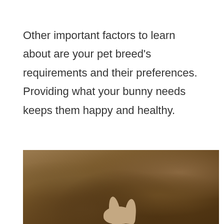Other important factors to learn about are your pet breed's requirements and their preferences. Providing what your bunny needs keeps them happy and healthy.
[Figure (photo): A rabbit photographed from above, showing its ears and head, surrounded by dark soil, pebbles, and straw on the ground.]